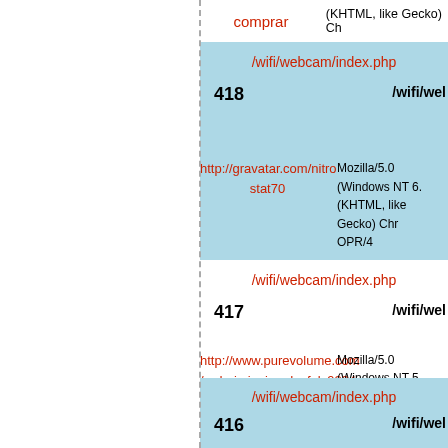| URL/Referer | User Agent |
| --- | --- |
| comprar | (KHTML, like Gecko) Ch |
| /wifi/webcam/index.php |  |
| 418 | /wifi/wel |
| http://gravatar.com/nitrostat70 | Mozilla/5.0 (Windows NT 6. (KHTML, like Gecko) Chr OPR/4 |
| /wifi/webcam/index.php |  |
| 417 | /wifi/wel |
| http://www.purevolume.com/orderimiquimodsafely98040 | Mozilla/5.0 (Windows NT 5. Gecko) Chrome/56.0.2924.8 Sa |
| /wifi/webcam/index.php |  |
| 416 | /wifi/wel |